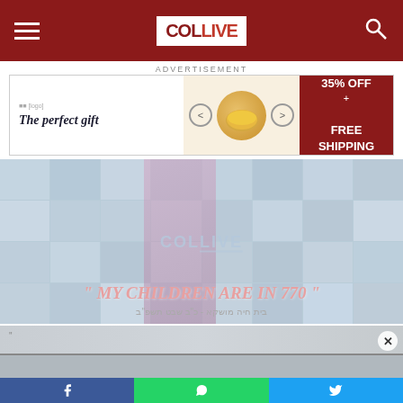COL LIVE
ADVERTISEMENT
[Figure (infographic): Advertisement banner: 'The perfect gift' with popcorn bowl image and arrows, 35% OFF + FREE SHIPPING offer in dark red]
[Figure (photo): Group photo of girls/women in rows with COL LIVE watermark, and quote text '"MY CHILDREN ARE IN 770"' with Hebrew text beneath]
[Figure (photo): Partial photo strip of a building exterior with close (X) button]
Facebook share | WhatsApp share | Twitter share